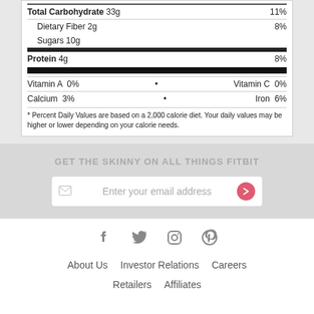| Total Carbohydrate 33g | 11% |
| Dietary Fiber 2g | 8% |
| Sugars 10g |  |
| Protein 4g | 8% |
Vitamin A  0%    •    Vitamin C  0%
Calcium  3%    •    Iron  6%
* Percent Daily Values are based on a 2,000 calorie diet. Your daily values may be higher or lower depending on your calorie needs.
GET THE SKINNY ON ALL THINGS FITBIT
Enter your email address
About Us   Investor Relations   Careers
Retailers   Affiliates